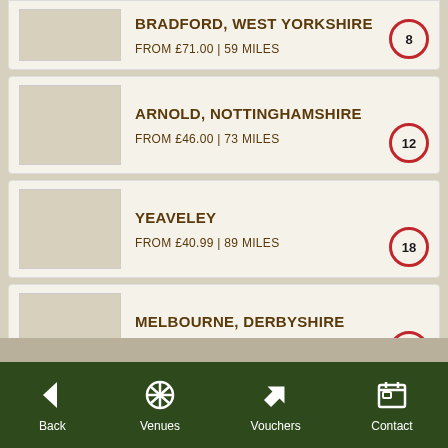BRADFORD, WEST YORKSHIRE — FROM £71.00 | 59 MILES — 8 venues
ARNOLD, NOTTINGHAMSHIRE — FROM £46.00 | 73 MILES — 12 venues
YEAVELEY — FROM £40.99 | 89 MILES — 18 venues
MELBOURNE, DERBYSHIRE — FROM £86.00 | 93 MILES — 18 venues
Back | Venues | Vouchers | Contact